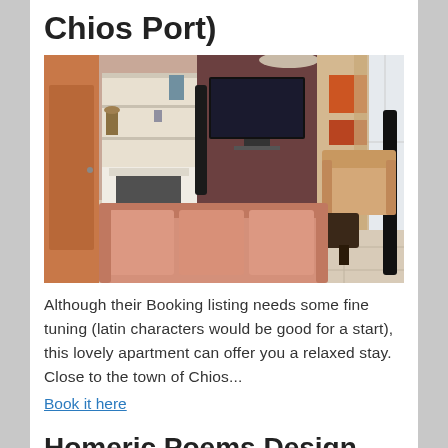Chios Port)
[Figure (photo): Interior photo of a living room with pink/salmon sofas, dark coffee table, wall-mounted TV on brown accent wall with shelving units, armchair, fireplace, and large windows with curtains]
Although their Booking listing needs some fine tuning (latin characters would be good for a start), this lovely apartment can offer you a relaxed stay. Close to the town of Chios...
Book it here
Homeric Poems Design Residences  (at Chios Town)